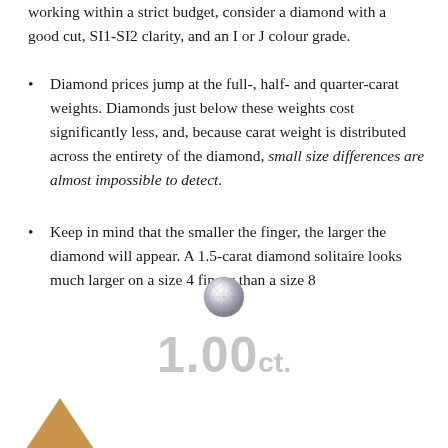working within a strict budget, consider a diamond with a good cut, SI1-SI2 clarity, and an I or J colour grade.
Diamond prices jump at the full-, half- and quarter-carat weights. Diamonds just below these weights cost significantly less, and, because carat weight is distributed across the entirety of the diamond, small size differences are almost impossible to detect.
Keep in mind that the smaller the finger, the larger the diamond will appear. A 1.5-carat diamond solitaire looks much larger on a size 4 finger than a size 8
[Figure (photo): Small round brilliant diamond viewed from above]
1.00ct.